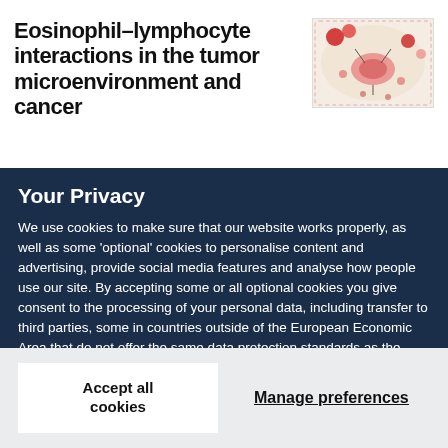Eosinophil–lymphocyte interactions in the tumor microenvironment and cancer
[Figure (illustration): Small thumbnail diagram showing cellular interactions in the tumor microenvironment, with pink and red cell illustrations and arrows on a light beige background.]
Your Privacy
We use cookies to make sure that our website works properly, as well as some 'optional' cookies to personalise content and advertising, provide social media features and analyse how people use our site. By accepting some or all optional cookies you give consent to the processing of your personal data, including transfer to third parties, some in countries outside of the European Economic Area that do not offer the same data protection standards as the country where you live. You can decide which optional cookies to accept by clicking on 'Manage Settings', where you can also find more information about how your personal data is processed. Further information can be found in our privacy policy.
Accept all cookies
Manage preferences